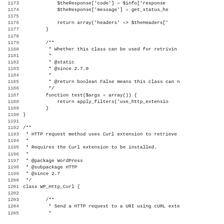Source code listing, lines 1173-1205, showing PHP class methods including test() function and WP_Http_Curl class definition